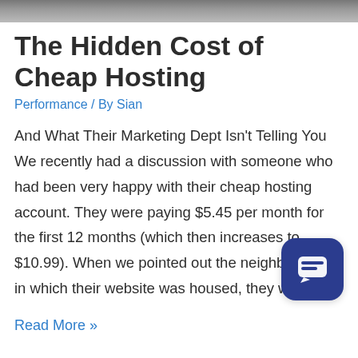[Figure (photo): Partial photo at the top of the page, dark/grey tones, cropped]
The Hidden Cost of Cheap Hosting
Performance / By Sian
And What Their Marketing Dept Isn't Telling You We recently had a discussion with someone who had been very happy with their cheap hosting account. They were paying $5.45 per month for the first 12 months (which then increases to $10.99). When we pointed out the neighborhood in which their website was housed, they were …
Read More »